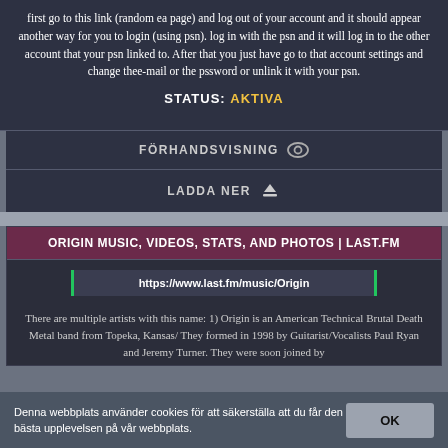first go to this link (random ea page) and log out of your account and it should appear another way for you to login (using psn). log in with the psn and it will log in to the other account that your psn linked to. After that you just have go to that account settings and change thee-mail or the pssword or unlink it with your psn.
STATUS: AKTIVA
FÖRHANDSVISNING
LADDA NER
ORIGIN MUSIC, VIDEOS, STATS, AND PHOTOS | LAST.FM
https://www.last.fm/music/Origin
There are multiple artists with this name: 1) Origin is an American Technical Brutal Death Metal band from Topeka, Kansas/ They formed in 1998 by Guitarist/Vocalists Paul Ryan and Jeremy Turner. They were soon joined by
Denna webbplats använder cookies för att säkerställa att du får den bästa upplevelsen på vår webbplats.